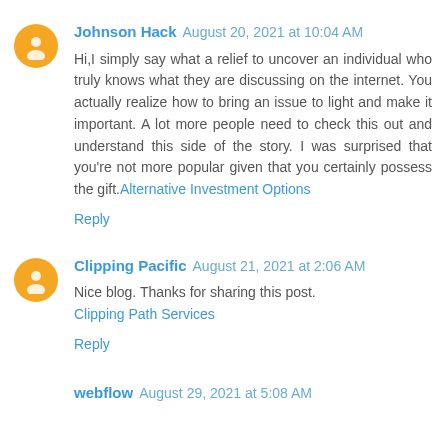Johnson Hack  August 20, 2021 at 10:04 AM
Hi,I simply say what a relief to uncover an individual who truly knows what they are discussing on the internet. You actually realize how to bring an issue to light and make it important. A lot more people need to check this out and understand this side of the story. I was surprised that you're not more popular given that you certainly possess the gift. Alternative Investment Options
Reply
Clipping Pacific  August 21, 2021 at 2:06 AM
Nice blog. Thanks for sharing this post. Clipping Path Services
Reply
webflow  August 29, 2021 at 5:08 AM